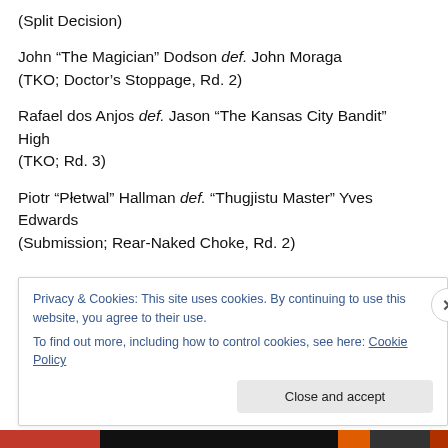(Split Decision)
John “The Magician” Dodson def. John Moraga (TKO; Doctor’s Stoppage, Rd. 2)
Rafael dos Anjos def. Jason “The Kansas City Bandit” High (TKO; Rd. 3)
Piotr “Płetwal” Hallman def. “Thugjistu Master” Yves Edwards (Submission; Rear-Naked Choke, Rd. 2)
Privacy & Cookies: This site uses cookies. By continuing to use this website, you agree to their use. To find out more, including how to control cookies, see here: Cookie Policy
Close and accept